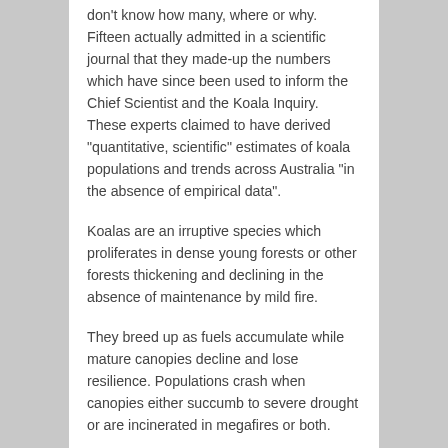don't know how many, where or why. Fifteen actually admitted in a scientific journal that they made-up the numbers which have since been used to inform the Chief Scientist and the Koala Inquiry. These experts claimed to have derived "quantitative, scientific" estimates of koala populations and trends across Australia "in the absence of empirical data".
Koalas are an irruptive species which proliferates in dense young forests or other forests thickening and declining in the absence of maintenance by mild fire.
They breed up as fuels accumulate while mature canopies decline and lose resilience. Populations crash when canopies either succumb to severe drought or are incinerated in megafires or both.